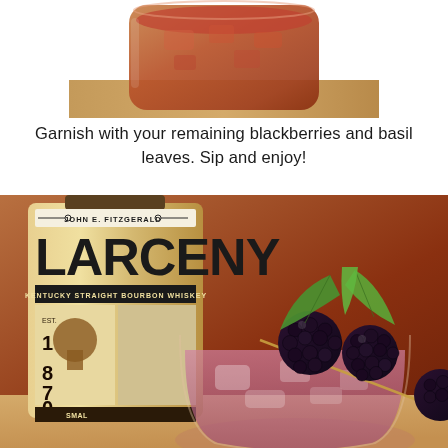[Figure (photo): Close-up of a reddish cocktail drink in a glass with ice, viewed from above, on a wooden surface.]
Garnish with your remaining blackberries and basil leaves. Sip and enjoy!
[Figure (photo): A cocktail glass with a pink/purple drink garnished with fresh blackberries and green basil leaves on a toothpick skewer, with a bottle of Larceny Kentucky Straight Bourbon Whiskey (John E. Fitzgerald) in the background, set on a wooden surface.]